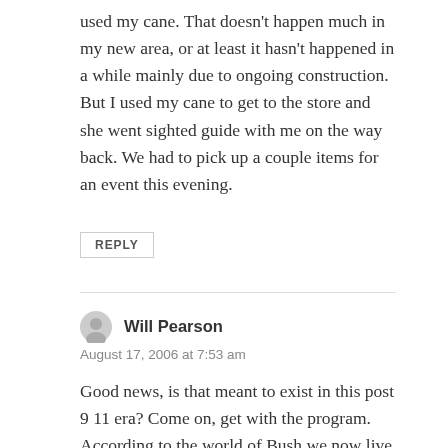used my cane. That doesn't happen much in my new area, or at least it hasn't happened in a while mainly due to ongoing construction. But I used my cane to get to the store and she went sighted guide with me on the way back. We had to pick up a couple items for an event this evening.
REPLY
Will Pearson
August 17, 2006 at 7:53 am
Good news, is that meant to exist in this post 9 11 era? Come on, get with the program. According to the world of Bush we now live in a world filled by doom and gloom, a world where everyone wants to blow everyone else up or otherwise destroy the fabric of society. Yep, the optimism that filled the